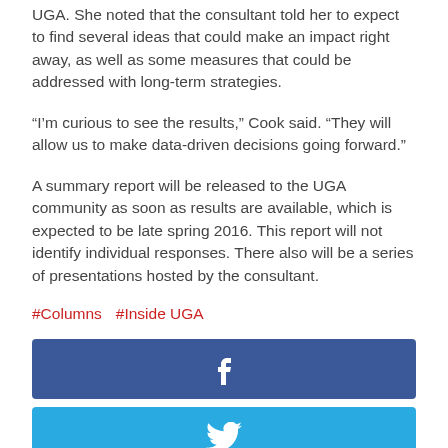UGA. She noted that the consultant told her to expect to find several ideas that could make an impact right away, as well as some measures that could be addressed with long-term strategies.
“I’m curious to see the results,” Cook said. “They will allow us to make data-driven decisions going forward.”
A summary report will be released to the UGA community as soon as results are available, which is expected to be late spring 2016. This report will not identify individual responses. There also will be a series of presentations hosted by the consultant.
#Columns  #Inside UGA
[Figure (other): Facebook share button (dark blue)]
[Figure (other): Twitter share button (light blue)]
[Figure (other): Pinterest share button (red)]